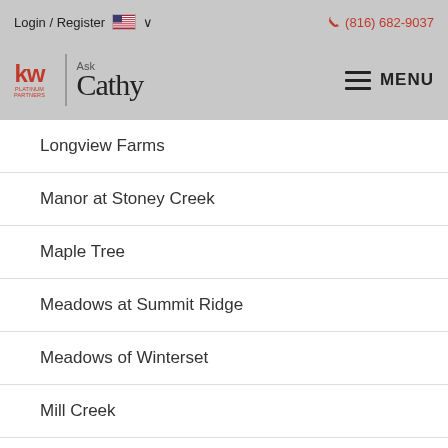Login / Register  🇺🇸 ∨   (816) 682-9037
[Figure (logo): KW Platinum Partners Ask Cathy logo with hamburger menu]
Longview Farms
Manor at Stoney Creek
Maple Tree
Meadows at Summit Ridge
Meadows of Winterset
Mill Creek
Monarch View
Morgan Acres